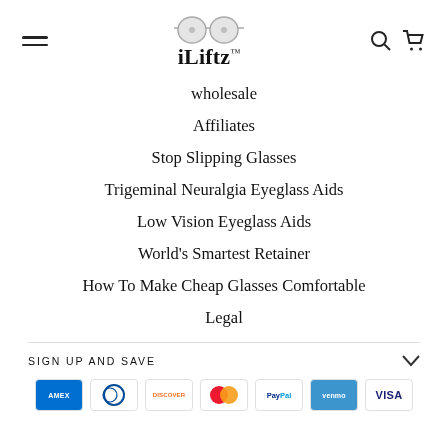iLiftz navigation header with hamburger menu, logo, search and cart icons
wholesale
Affiliates
Stop Slipping Glasses
Trigeminal Neuralgia Eyeglass Aids
Low Vision Eyeglass Aids
World's Smartest Retainer
How To Make Cheap Glasses Comfortable
Legal
SIGN UP AND SAVE
[Figure (other): Payment method icons: Amex, Diners Club, Discover, Mastercard, PayPal, Venmo, Visa]